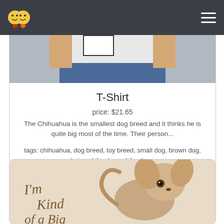Navigation bar with logo and hamburger menu
[Figure (photo): Photo of a person wearing a T-shirt, partially visible torso in jeans]
T-Shirt
price: $21.65
The Chihuahua is the smallest dog breed and it thinks he is quite big most of the time. Their person...
tags: chihuahua, dog breed, toy breed, small dog, brown dog, beige chihuahua, chihuahu...
[Figure (illustration): Illustration of a Chihuahua dog with cursive text reading 'I'm Kind of a Big' with beige background]